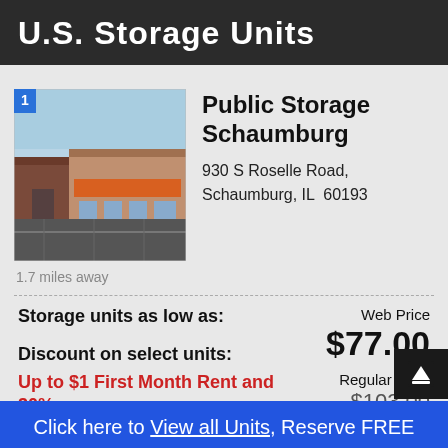U.S. Storage Units
[Figure (photo): Exterior photo of Public Storage Schaumburg facility with blue sky and storefront, badge showing number 1]
Public Storage Schaumburg
930 S Roselle Road, Schaumburg, IL  60193
1.7 miles away
Storage units as low as:
Web Price $77.00
Discount on select units:
Up to $1 First Month Rent and 30% OFF*
Regular Price $103.00
Click here to View all Units, Reserve FREE